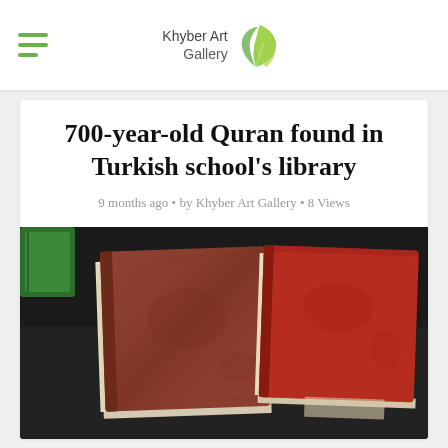Khyber Art Gallery
700-year-old Quran found in Turkish school's library
9 months ago • by Khyber Art Gallery • 8 Views
[Figure (photo): Two old red-covered books (ancient Qurans) placed on a dark surface, photographed from above at an angle.]